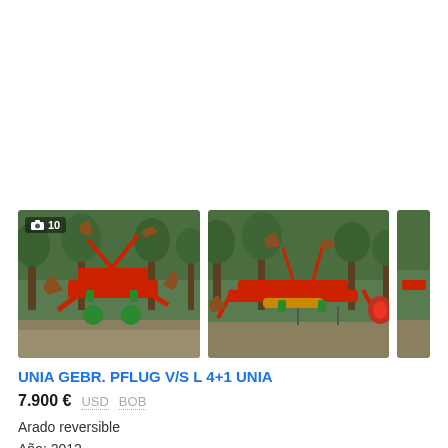[Figure (photo): Two photos of a red UNIA reversible plow (V/S L 4+1) parked outdoors on a gravel/dirt path with green trees in the background. Left photo shows front view with a '10 photos' badge overlay; right photo shows a side view. A third partial photo is partially visible at far right edge.]
UNIA GEBR. PFLUG V/S L 4+1 UNIA
7.900 € USD BOB
Arado reversible
Año: 2012